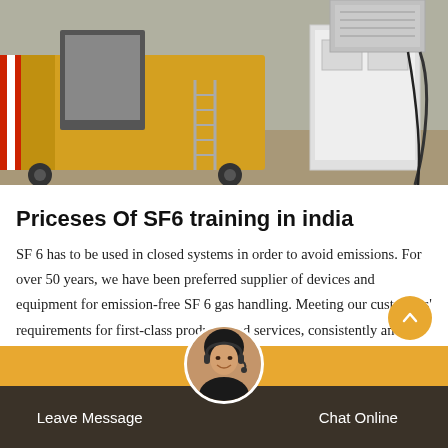[Figure (photo): A photo showing a yellow truck/trailer with equipment on it and a white electrical cabinet or panel unit on the right side, with an AC/cooling unit on top, set on a concrete surface outdoors.]
Priceses Of SF6 training in india
SF 6 has to be used in closed systems in order to avoid emissions. For over 50 years, we have been preferred supplier of devices and equipment for emission-free SF 6 gas handling. Meeting our customers' requirements for first-class products and services, consistently and without any compromises, is our declared goal.
Leave Message    Chat Online